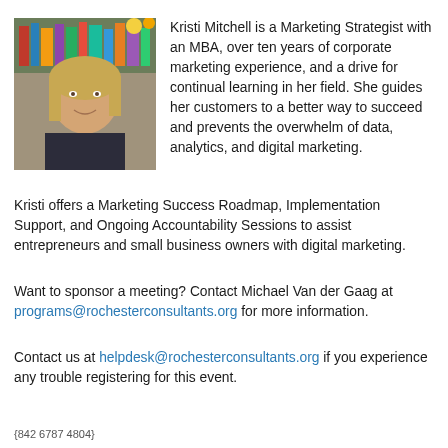[Figure (photo): Headshot photo of Kristi Mitchell, a woman with blonde hair smiling, in front of a bookshelf background]
Kristi Mitchell is a Marketing Strategist with an MBA, over ten years of corporate marketing experience, and a drive for continual learning in her field. She guides her customers to a better way to succeed and prevents the overwhelm of data, analytics, and digital marketing.
Kristi offers a Marketing Success Roadmap, Implementation Support, and Ongoing Accountability Sessions to assist entrepreneurs and small business owners with digital marketing.
Want to sponsor a meeting? Contact Michael Van der Gaag at programs@rochesterconsultants.org for more information.
Contact us at helpdesk@rochesterconsultants.org if you experience any trouble registering for this event.
{842 6787 4804}